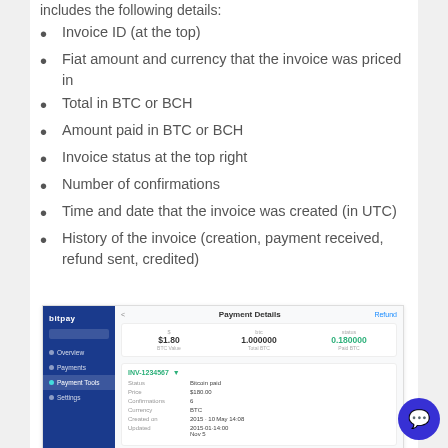includes the following details:
Invoice ID (at the top)
Fiat amount and currency that the invoice was priced in
Total in BTC or BCH
Amount paid in BTC or BCH
Invoice status at the top right
Number of confirmations
Time and date that the invoice was created (in UTC)
History of the invoice (creation, payment received, refund sent, credited)
[Figure (screenshot): Screenshot of a payment details panel in a cryptocurrency payment dashboard showing invoice details including amounts in USD and BTC, confirmation count, creation time, and transaction history. A blue sidebar with navigation items is visible on the left.]